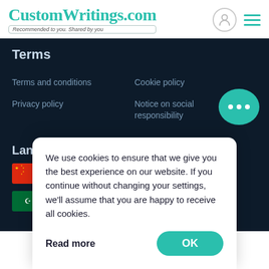CustomWritings.com — Recommended to you. Shared by you
Terms
Terms and conditions
Cookie policy
Privacy policy
Notice on social responsibility
Language
[Figure (illustration): Four country flags in a 2x2 grid: China, USA, Saudi Arabia, Canada]
We accept
We use cookies to ensure that we give you the best experience on our website. If you continue without changing your settings, we'll assume that you are happy to receive all cookies.
Read more
OK